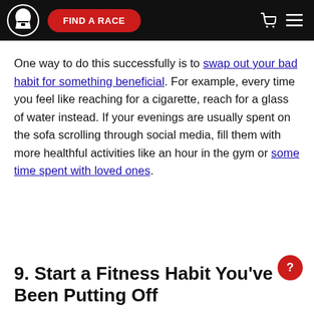FIND A RACE
One way to do this successfully is to swap out your bad habit for something beneficial. For example, every time you feel like reaching for a cigarette, reach for a glass of water instead. If your evenings are usually spent on the sofa scrolling through social media, fill them with more healthful activities like an hour in the gym or some time spent with loved ones.
9. Start a Fitness Habit You've Been Putting Off